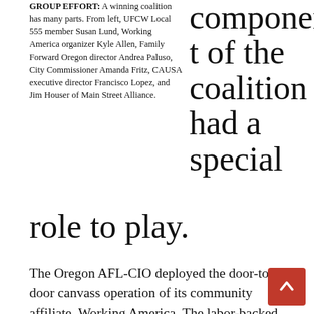GROUP EFFORT: A winning coalition has many parts. From left, UFCW Local 555 member Susan Lund, Working America organizer Kyle Allen, Family Forward Oregon director Andrea Paluso, City Commissioner Amanda Fritz, CAUSA executive director Francisco Lopez, and Jim Houser of Main Street Alliance. component of the coalition had a special role to play.
The Oregon AFL-CIO deployed the door-to-door canvass operation of its community affiliate, Working America. The labor-backed Oregon Working Families Party joined that effort, joined by a dozen student interns from the Oregon Bus Project's Politicorps program. The allied field operation spent a good portion of the summer and fall talking to Portlanders about the sick days ordinance. All told, they knocked on 40,000 doors, generated 3,000 letters and 1,400 signatures on a petition in support of the ordinance. A later round